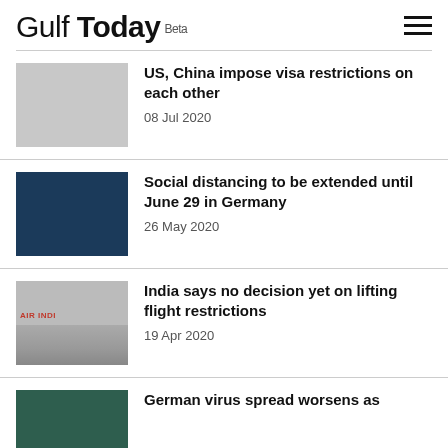Gulf Today Beta
US, China impose visa restrictions on each other
08 Jul 2020
Social distancing to be extended until June 29 in Germany
26 May 2020
India says no decision yet on lifting flight restrictions
19 Apr 2020
German virus spread worsens as